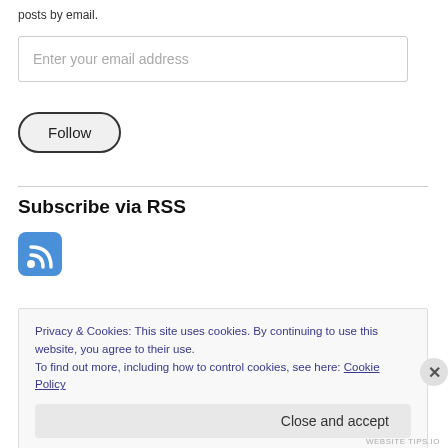posts by email.
Enter your email address
Follow
Subscribe via RSS
[Figure (logo): Blue RSS feed icon with white signal waves on a rounded square background]
Privacy & Cookies: This site uses cookies. By continuing to use this website, you agree to their use.
To find out more, including how to control cookies, see here: Cookie Policy
Close and accept